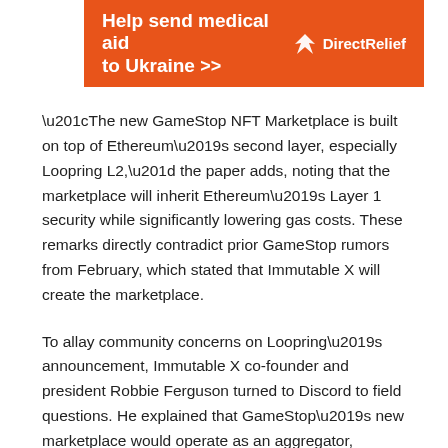[Figure (other): Orange banner advertisement for Direct Relief: 'Help send medical aid to Ukraine >>' with Direct Relief logo (white bird icon and text) on orange background]
“The new GameStop NFT Marketplace is built on top of Ethereum’s second layer, especially Loopring L2,” the paper adds, noting that the marketplace will inherit Ethereum’s Layer 1 security while significantly lowering gas costs. These remarks directly contradict prior GameStop rumors from February, which stated that Immutable X will create the marketplace.
To allay community concerns on Loopring’s announcement, Immutable X co-founder and president Robbie Ferguson turned to Discord to field questions. He explained that GameStop’s new marketplace would operate as an aggregator, allowing for the trading of NFTs hosted on